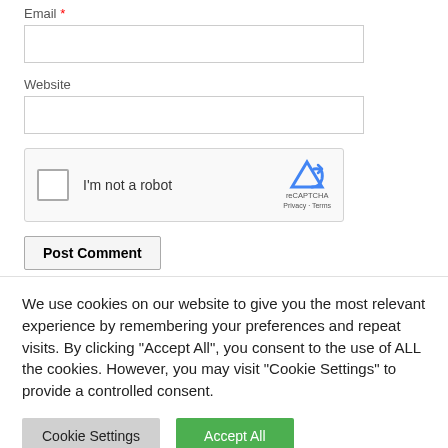Email *
[Figure (screenshot): Empty email input text field]
Website
[Figure (screenshot): Empty website input text field]
[Figure (screenshot): reCAPTCHA widget with checkbox and 'I'm not a robot' text, reCAPTCHA logo, Privacy and Terms links]
Post Comment
We use cookies on our website to give you the most relevant experience by remembering your preferences and repeat visits. By clicking "Accept All", you consent to the use of ALL the cookies. However, you may visit "Cookie Settings" to provide a controlled consent.
Cookie Settings
Accept All